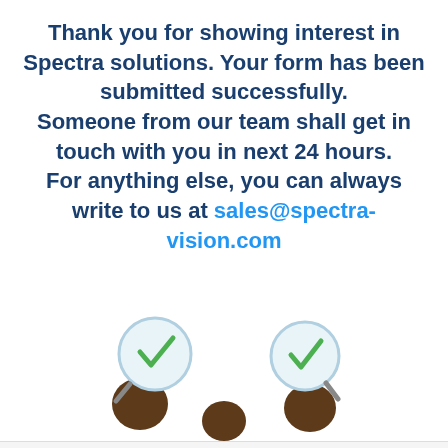Thank you for showing interest in Spectra solutions. Your form has been submitted successfully. Someone from our team shall get in touch with you in next 24 hours. For anything else, you can always write to us at sales@spectra-vision.com
[Figure (illustration): Illustration of three people with green checkmarks in magnifying glass circles above their heads, indicating successful form submission.]
In order to deliver a personalised, responsive service and to improve the site, we rememeber and store information about how you see it. Spectra Technovision uses "cookies" for functional and analytical purposes.
Please read our Privacy Policy for more information
I agree | I disagree | Manage Cookies